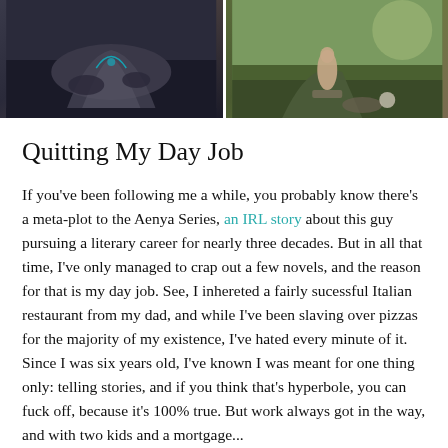[Figure (photo): Two side-by-side photos: left shows a dark fantasy stone creature/figure with blue glow effects; right shows a figure outdoors on rocks in natural lighting.]
Quitting My Day Job
If you've been following me a while, you probably know there's a meta-plot to the Aenya Series, an IRL story about this guy pursuing a literary career for nearly three decades. But in all that time, I've only managed to crap out a few novels, and the reason for that is my day job. See, I inhereted a fairly sucessful Italian restaurant from my dad, and while I've been slaving over pizzas for the majority of my existence, I've hated every minute of it. Since I was six years old, I've known I was meant for one thing only: telling stories, and if you think that's hyperbole, you can fuck off, because it's 100% true. But work always got in the way, and with two kids and a mortgage...